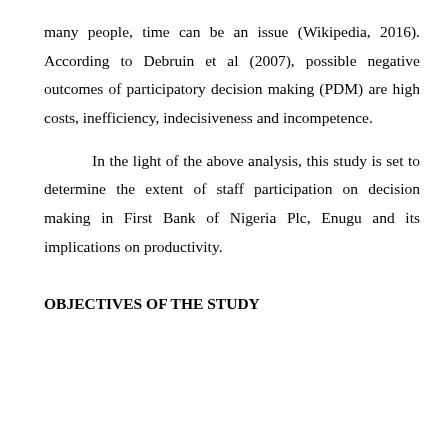many people, time can be an issue (Wikipedia, 2016). According to Debruin et al (2007), possible negative outcomes of participatory decision making (PDM) are high costs, inefficiency, indecisiveness and incompetence.
In the light of the above analysis, this study is set to determine the extent of staff participation on decision making in First Bank of Nigeria Plc, Enugu and its implications on productivity.
OBJECTIVES OF THE STUDY